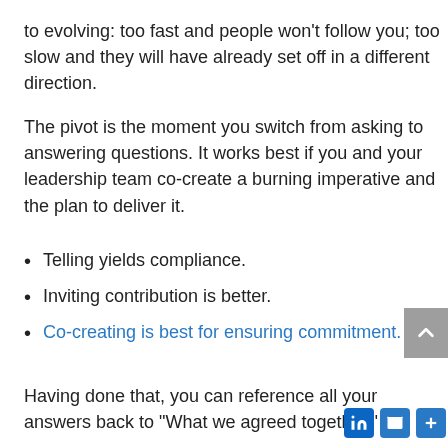to evolving: too fast and people won't follow you; too slow and they will have already set off in a different direction.
The pivot is the moment you switch from asking to answering questions. It works best if you and your leadership team co-create a burning imperative and the plan to deliver it.
Telling yields compliance.
Inviting contribution is better.
Co-creating is best for ensuring commitment.
Having done that, you can reference all your answers back to “What we agreed together.”